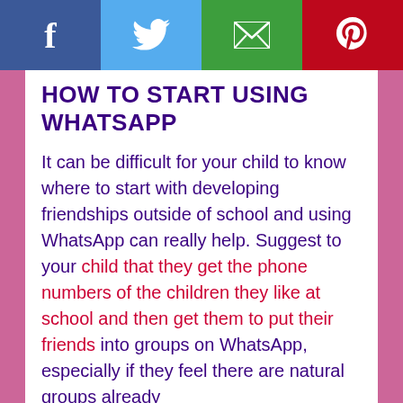f | Twitter bird | envelope | Pinterest p
HOW TO START USING WHATSAPP
It can be difficult for your child to know where to start with developing friendships outside of school and using WhatsApp can really help. Suggest to your child that they get the phone numbers of the children they like at school and then get them to put their friends into groups on WhatsApp, especially if they feel there are natural groups already